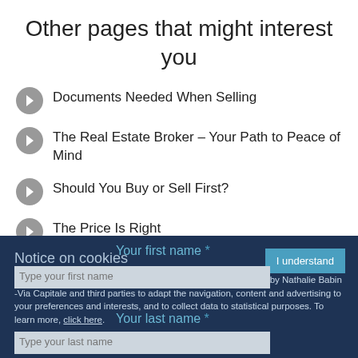Other pages that might interest you
Documents Needed When Selling
The Real Estate Broker – Your Path to Peace of Mind
Should You Buy or Sell First?
The Price Is Right
Protection You Can Count On!
Notice on cookies
Your first name *
Type your first name
By continuing your navigation, you agree to the use of cookies by Nathalie Babin -Via Capitale and third parties to adapt the navigation, content and advertising to your preferences and interests, and to collect data to statistical purposes. To learn more, click here.
Your last name *
Type your last name
I understand